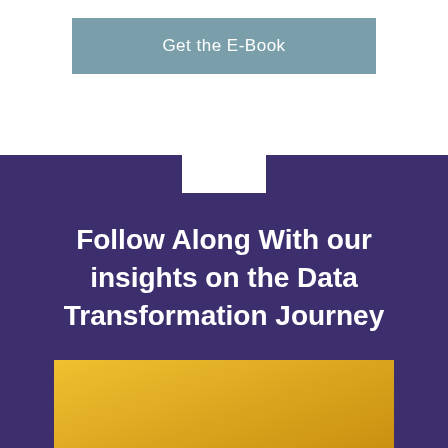Get the E-Book
Follow Along With our insights on the Data Transformation Journey
[Figure (other): Yellow/gold colored rectangular block at bottom of purple section]